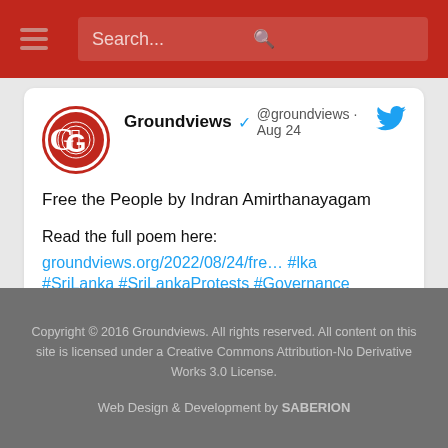Search...
[Figure (screenshot): Groundviews Twitter/X embedded tweet card showing: Groundviews @groundviews · Aug 24 — Free the People by Indran Amirthanayagam. Read the full poem here: groundviews.org/2022/08/24/fre… #lka #SriLanka #SriLankaProtests #Governance]
Copyright © 2016 Groundviews. All rights reserved. All content on this site is licensed under a Creative Commons Attribution-No Derivative Works 3.0 License.
Web Design & Development by SABERION